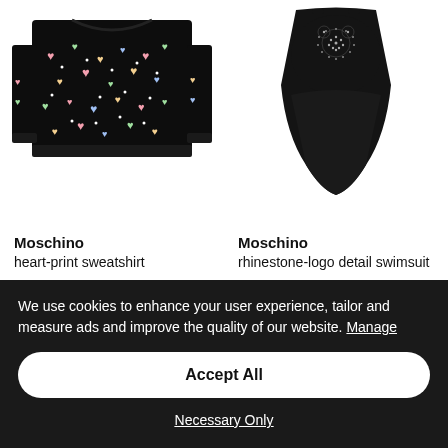[Figure (photo): Moschino heart-print sweatshirt on white background, black with colorful heart pattern]
[Figure (photo): Moschino black rhinestone-logo detail swimsuit on white background]
Moschino
heart-print sweatshirt
£170 -50% £85
Moschino
rhinestone-logo detail swimsuit
£240 -50% £120
We use cookies to enhance your user experience, tailor and measure ads and improve the quality of our website. Manage
Accept All
Necessary Only